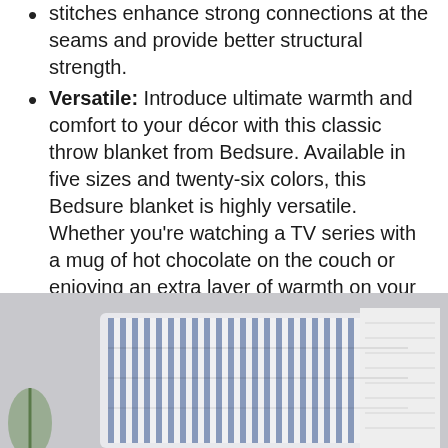stitches enhance strong connections at the seams and provide better structural strength.
Versatile: Introduce ultimate warmth and comfort to your décor with this classic throw blanket from Bedsure. Available in five sizes and twenty-six colors, this Bedsure blanket is highly versatile. Whether you're watching a TV series with a mug of hot chocolate on the couch or enjoying an extra layer of warmth on your bed while sleeping, this super cozy blanket is a perfect companion.
Easy Care: Machine wash in cold water on a gentle cycle. Tumble dry low. Do not use any detergent with chlorine. Do not dry clean or iron.
[Figure (photo): Photo of a folded striped throw blanket in blue and white stripes with a white knit blanket beside it, displayed against a light gray background.]